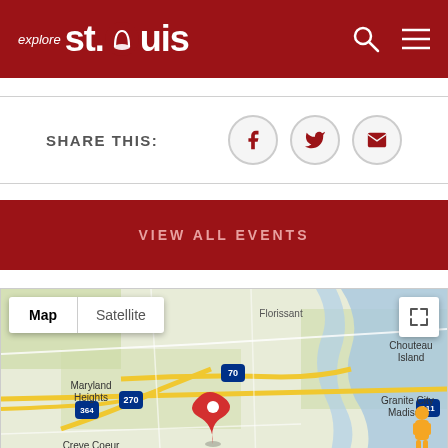explore St. Louis
SHARE THIS:
[Figure (screenshot): Social share buttons: Facebook, Twitter, Email]
VIEW ALL EVENTS
[Figure (map): Google Map showing St. Louis area with Map/Satellite toggle, location pin, and expand button. Shows Maryland Heights, Creve Coeur, Chouteau Island, Granite City, Madison areas with route 364, 270, 70 visible.]